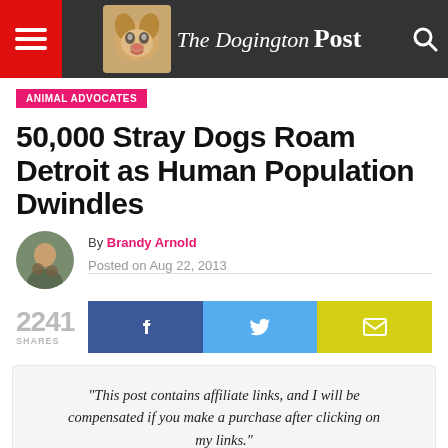[Figure (logo): The Dogington Post website header with hamburger menu, dog logo image, site name 'The Dogington Post', and search icon]
ANIMAL ADVOCATES
50,000 Stray Dogs Roam Detroit as Human Population Dwindles
By Brandy Arnold
Posted on Aug 22, 2013
2241 SHARES
“This post contains affiliate links, and I will be compensated if you make a purchase after clicking on my links.”